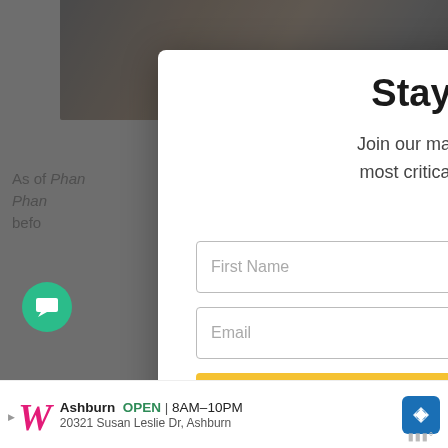[Figure (screenshot): Website screenshot with newsletter signup modal overlay. Background shows a dark image at top and article text partially visible. Modal contains 'Stay Informed' heading, mailing list description, First Name and Email input fields, and a yellow 'Join Mailing List' button. Right side shows heart/share social icons. Bottom shows a Walgreens advertisement bar with store info.]
Stay Informed
Join our mailing list and receive our most critical stories straight to your inbox.
First Name
Email
Join Mailing List
WHAT'S NEXT → 5 Everyday Things That...
Ashburn  OPEN  8AM–10PM  20321 Susan Leslie Dr, Ashburn